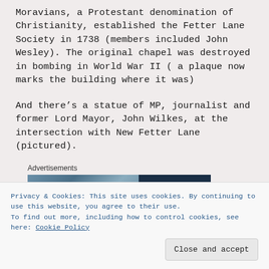Moravians, a Protestant denomination of Christianity, established the Fetter Lane Society in 1738 (members included John Wesley). The original chapel was destroyed in bombing in World War II ( a plaque now marks the building where it was)
And there's a statue of MP, journalist and former Lord Mayor, John Wilkes, at the intersection with New Fetter Lane (pictured).
Advertisements
[Figure (photo): Advertisement image showing a blurry street scene on the left half and a dark navy background with a large white letter P on the right half]
Privacy & Cookies: This site uses cookies. By continuing to use this website, you agree to their use.
To find out more, including how to control cookies, see here: Cookie Policy
Close and accept